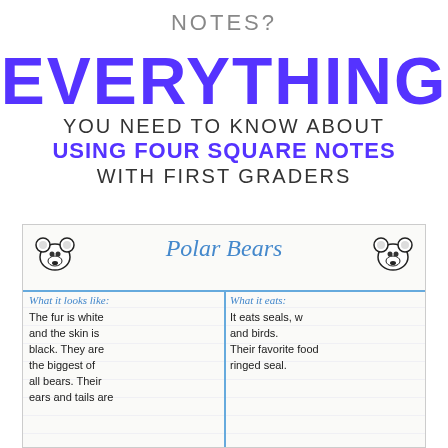NOTES?
EVERYTHING YOU NEED TO KNOW ABOUT USING FOUR SQUARE NOTES WITH FIRST GRADERS
[Figure (photo): Photograph of a classroom anchor chart titled 'Polar Bears' with two hand-drawn bear face icons. The chart is divided into four squares with sections labeled 'What it looks like:' and 'What it eats:'. Text reads: left column - 'The fur is white and the skin is black. They are the biggest of all bears. Their ears and tails are'; right column - 'It eats seals, w and birds. Their favorite food ringed seal.']